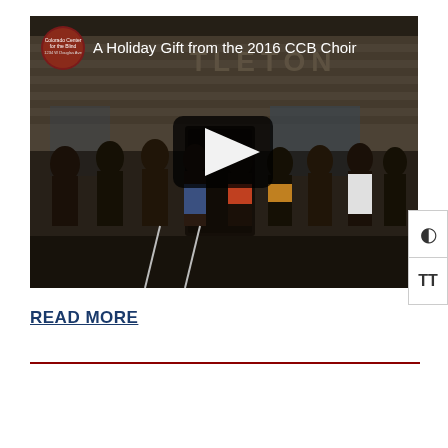[Figure (screenshot): YouTube video thumbnail showing a group of people (choir) standing in front of a building with 'LITTLETON' visible on the facade. The video is titled 'A Holiday Gift from the 2016 CCB Choir' with a Colorado Center for the Blind channel logo in the top left and a play button in the center.]
READ MORE
horizontal rule divider